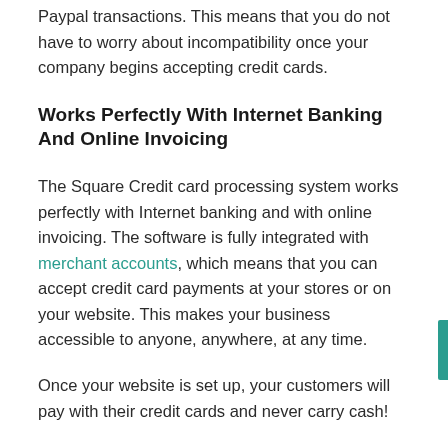Paypal transactions. This means that you do not have to worry about incompatibility once your company begins accepting credit cards.
Works Perfectly With Internet Banking And Online Invoicing
The Square Credit card processing system works perfectly with Internet banking and with online invoicing. The software is fully integrated with merchant accounts, which means that you can accept credit card payments at your stores or on your website. This makes your business accessible to anyone, anywhere, at any time.
Once your website is set up, your customers will pay with their credit cards and never carry cash!
Total Money Back Guarantee